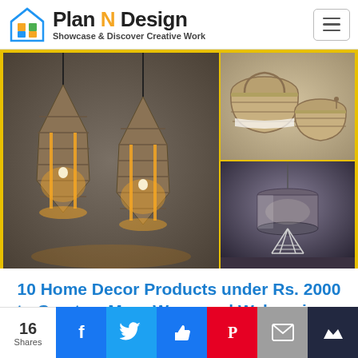[Figure (logo): Plan N Design logo with house/grid icon and tagline 'Showcase & Discover Creative Work']
[Figure (photo): Collage of home decor products: two woven jute pendant lamps glowing warmly on left, woven baskets on top right, wire-frame table lamp on bottom right]
10 Home Decor Products under Rs. 2000 to Create a More Warm and Welcoming...
[Figure (infographic): Social sharing bar with 16 Shares count and Facebook, Twitter, LinkedIn, Pinterest, Email, Bookmark buttons]